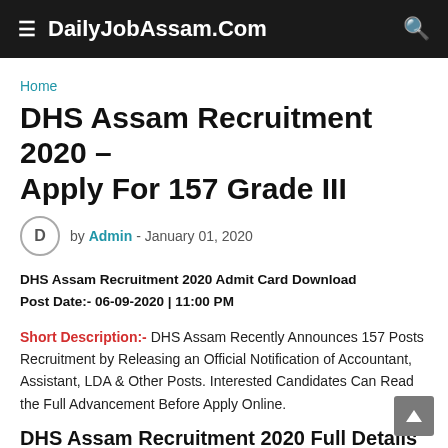DailyJobAssam.Com
Home
DHS Assam Recruitment 2020 – Apply For 157 Grade III
by Admin - January 01, 2020
DHS Assam Recruitment 2020 Admit Card Download
Post Date:- 06-09-2020 | 11:00 PM
Short Description:- DHS Assam Recently Announces 157 Posts Recruitment by Releasing an Official Notification of Accountant, Assistant, LDA & Other Posts. Interested Candidates Can Read the Full Advancement Before Apply Online.
DHS Assam Recruitment 2020 Full Details
Organization Name:- Directorate of Health Services